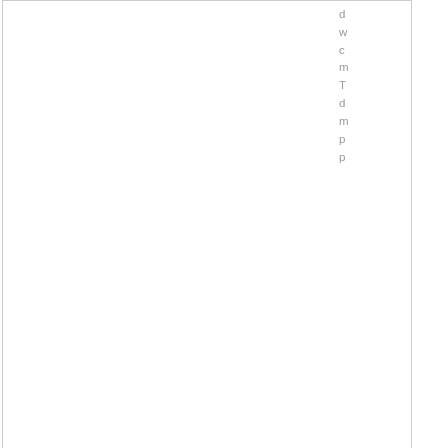d w c m T d m p p
[Figure (other): Gray gradient banner with bold italic number 3100]
[Figure (illustration): Gray square avatar/placeholder image with smiley face (two circular eyes and curved mouth in white)]
h
http://www.slajobs.com/s